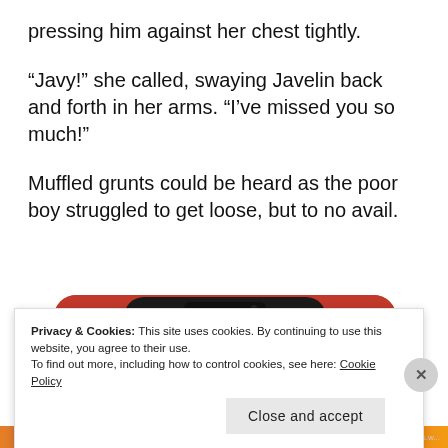pressing him against her chest tightly.
“Javy!” she called, swaying Javelin back and forth in her arms. “I’ve missed you so much!”
Muffled grunts could be heard as the poor boy struggled to get loose, but to no avail.
[Figure (screenshot): Screenshot of a smartphone displaying the DuckDuckGo logo (duck in a white circle) on an orange background, shown on a dark phone frame.]
Privacy & Cookies: This site uses cookies. By continuing to use this website, you agree to their use.
To find out more, including how to control cookies, see here: Cookie Policy
Close and accept